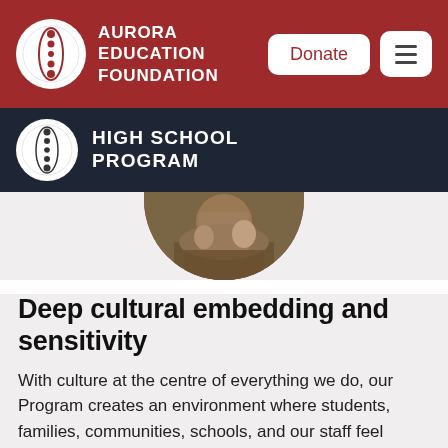AURORA EDUCATION FOUNDATION
HIGH SCHOOL PROGRAM
[Figure (photo): Circular cropped photo showing people, partially visible from the bottom of a circle, warm earthy tones]
Deep cultural embedding and sensitivity
With culture at the centre of everything we do, our Program creates an environment where students, families, communities, schools, and our staff feel connected, engaged and supported to do their best work and support the next generation of Aboriginal and Torres Strait Islander leaders.